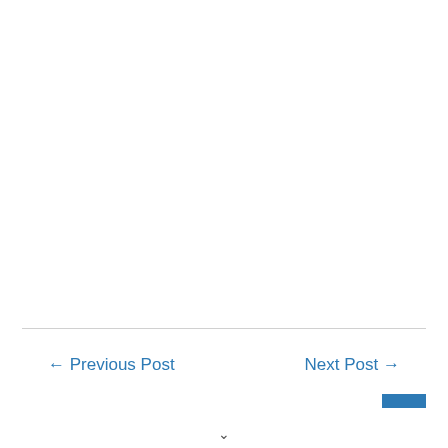← Previous Post    Next Post →